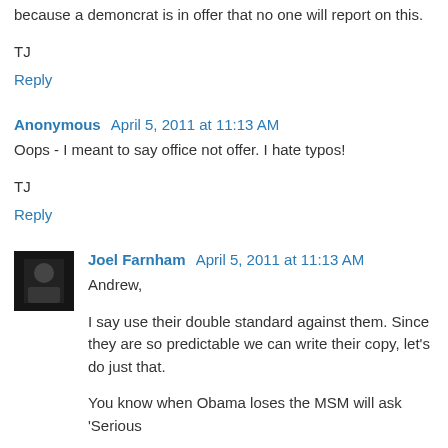because a demoncrat is in offer that no one will report on this.
TJ
Reply
Anonymous April 5, 2011 at 11:13 AM
Oops - I meant to say office not offer. I hate typos!
TJ
Reply
Joel Farnham April 5, 2011 at 11:13 AM
Andrew,
I say use their double standard against them. Since they are so predictable we can write their copy, let's do just that.
You know when Obama loses the MSM will ask 'Serious